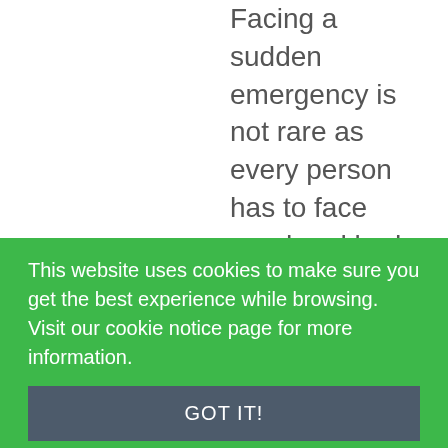Facing a sudden emergency is not rare as every person has to face good and bad times.
But the point is how we face that situation. Similarly when a person comes across a financial need then the
This website uses cookies to make sure you get the best experience while browsing. Visit our cookie notice page for more information.
GOT IT!